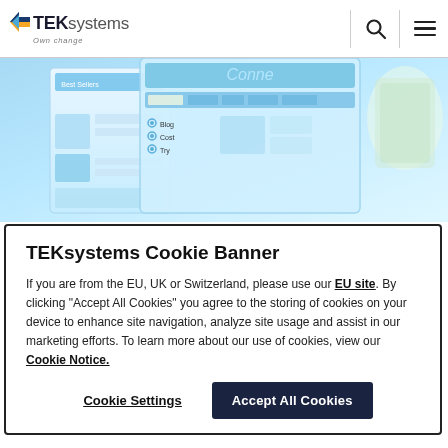TEKsystems Own change
[Figure (screenshot): Hero image showing web interface screens with blue tones, displaying website/app UI mockups including a 'Best Sellers' panel and connect-themed interface]
TEKsystems Cookie Banner
If you are from the EU, UK or Switzerland, please use our EU site. By clicking “Accept All Cookies” you agree to the storing of cookies on your device to enhance site navigation, analyze site usage and assist in our marketing efforts. To learn more about our use of cookies, view our Cookie Notice.
Cookie Settings | Accept All Cookies